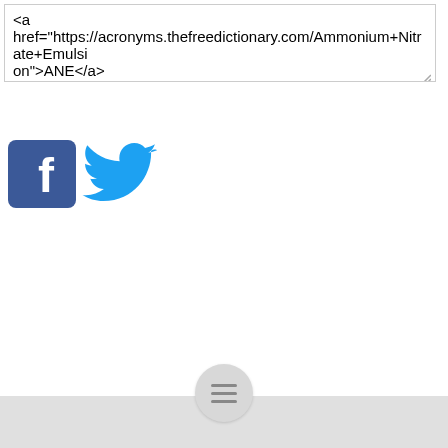<a href="https://acronyms.thefreedictionary.com/Ammonium+Nitrate+Emulsion">ANE</a>
[Figure (logo): Facebook logo icon (blue square with white 'f') and Twitter bird logo icon (cyan bird)]
[Figure (other): Hamburger menu button (three horizontal lines) in a circular grey button sitting on a light grey bottom bar]